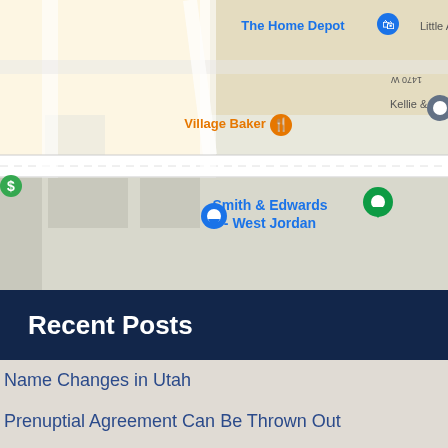[Figure (map): Google Maps screenshot showing West Jordan area with markers for The Home Depot, Village Baker, Smith & Edwards - West Jordan, Kellie & Company, Little Angels D., McDonald's, and an unnamed green location pin.]
Recent Posts
Name Changes in Utah
Prenuptial Agreement Can Be Thrown Out
Is it Time to Modify Alimony?
February Often Brings Divorce Filings
When is Probate Unnecessary?
What Does an Executor Do?